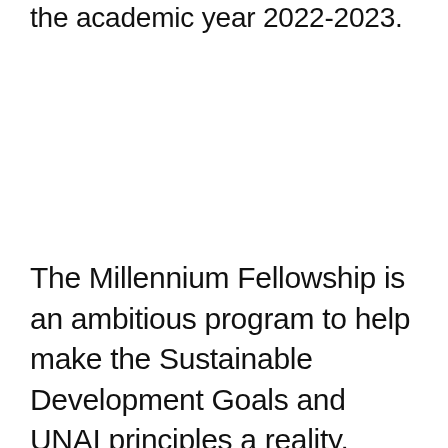the academic year 2022-2023.
The Millennium Fellowship is an ambitious program to help make the Sustainable Development Goals and UNAI principles a reality. Millennium Fellows will be selected among a record-breaking 25,501 applicants